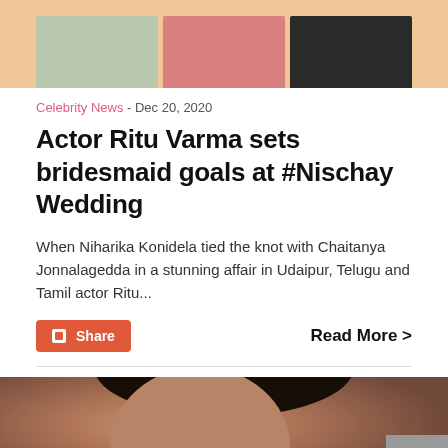[Figure (photo): Top portion showing partial images of women in traditional Indian attire against a peach/orange background]
Celebrity News - Dec 20, 2020
Actor Ritu Varma sets bridesmaid goals at #Nischay Wedding
When Niharika Konidela tied the knot with Chaitanya Jonnalagedda in a stunning affair in Udaipur, Telugu and Tamil actor Ritu...
Share
Read More >
[Figure (photo): Close-up of a woman's face showing red lips and earring, blurred background]